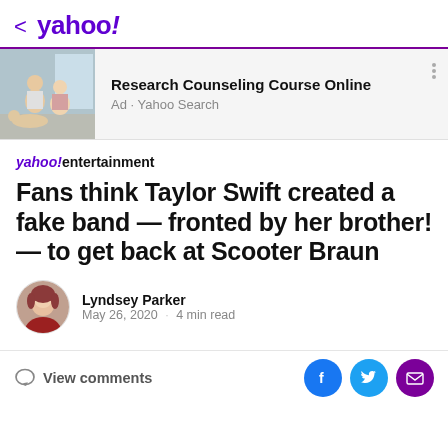< yahoo!
[Figure (advertisement): Ad banner with image of two people sitting, advertising Research Counseling Course Online via Yahoo Search]
yahoo!entertainment
Fans think Taylor Swift created a fake band — fronted by her brother! — to get back at Scooter Braun
Lyndsey Parker
May 26, 2020 · 4 min read
View comments